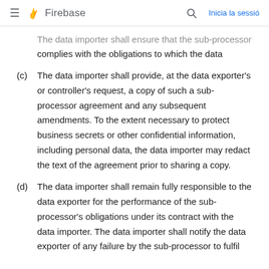Firebase — Inicia la sessió
The data importer shall ensure that the sub-processor complies with the obligations to which the data importer is subject pursuant to these Clauses.
(c) The data importer shall provide, at the data exporter's or controller's request, a copy of such a sub-processor agreement and any subsequent amendments. To the extent necessary to protect business secrets or other confidential information, including personal data, the data importer may redact the text of the agreement prior to sharing a copy.
(d) The data importer shall remain fully responsible to the data exporter for the performance of the sub-processor's obligations under its contract with the data importer. The data importer shall notify the data exporter of any failure by the sub-processor to fulfil